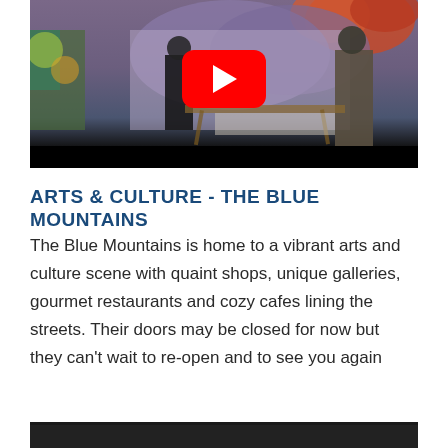[Figure (photo): YouTube video thumbnail showing two people in an art studio, one painting a large canvas with colorful landscape artwork. A red YouTube play button is visible in the center of the image. The bottom of the thumbnail has a black bar.]
ARTS & CULTURE - THE BLUE MOUNTAINS
The Blue Mountains is home to a vibrant arts and culture scene with quaint shops, unique galleries, gourmet restaurants and cozy cafes lining the streets. Their doors may be closed for now but they can’t wait to re-open and to see you again
[Figure (photo): Partial bottom thumbnail of another video, showing a dark background.]